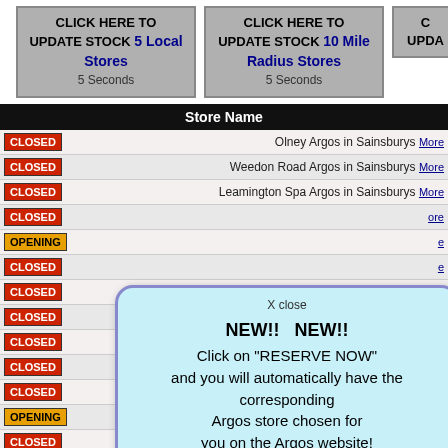[Figure (screenshot): Two clickable buttons: 'CLICK HERE TO UPDATE STOCK 5 Local Stores 5 Seconds' and 'CLICK HERE TO UPDATE STOCK 10 Mile Radius Stores 5 Seconds', plus a partial third button.]
| Status | Store Name |
| --- | --- |
| CLOSED | Olney Argos in Sainsburys More |
| CLOSED | Weedon Road Argos in Sainsburys More |
| CLOSED | Leamington Spa Argos in Sainsburys More |
| CLOSED | (partially obscured) More |
| OPENING | (partially obscured) More |
| CLOSED | (partially obscured) More |
| CLOSED | (partially obscured) More |
| CLOSED | (partially obscured) More |
| CLOSED | (partially obscured) More |
| CLOSED | (partially obscured) More |
| CLOSED | (partially obscured) More |
| OPENING | (partially obscured) More |
| CLOSED | Maypole Argos in Sainsburys More |
| CLOSED | Solihull Mell Sq. Argos in Sainsburys More |
| CLOSED | Court House Green Sainsburys Collection More |
| CLOSED | Selly Oak Argos in Sainsburys More |
| CLOSED | Market Harborough Sainsburys Collection More |
| OPENING | Bedworth Coventry Rd Sainsburys Colle... |
NEW!!   NEW!! Click on "RESERVE NOW" and you will automatically have the corresponding Argos store chosen for you on the Argos website! This will auto close in 3 seconds